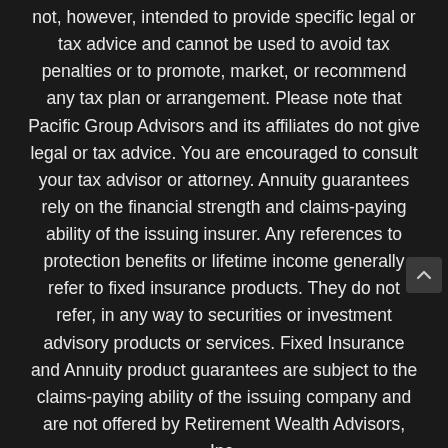not, however, intended to provide specific legal or tax advice and cannot be used to avoid tax penalties or to promote, market, or recommend any tax plan or arrangement. Please note that Pacific Group Advisors and its affiliates do not give legal or tax advice. You are encouraged to consult your tax advisor or attorney. Annuity guarantees rely on the financial strength and claims-paying ability of the issuing insurer. Any references to protection benefits or lifetime income generally refer to fixed insurance products. They do not refer, in any way to securities or investment advisory products or services. Fixed Insurance and Annuity product guarantees are subject to the claims-paying ability of the issuing company and are not offered by Retirement Wealth Advisors, Inc.